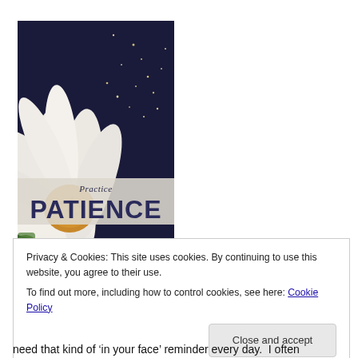[Figure (photo): Book cover showing a white daisy flower against a dark background with the title 'Practice PATIENCE' in large bold dark blue letters on a light banner]
Privacy & Cookies: This site uses cookies. By continuing to use this website, you agree to their use.
To find out more, including how to control cookies, see here: Cookie Policy
Close and accept
need that kind of 'in your face' reminder every day.  I often